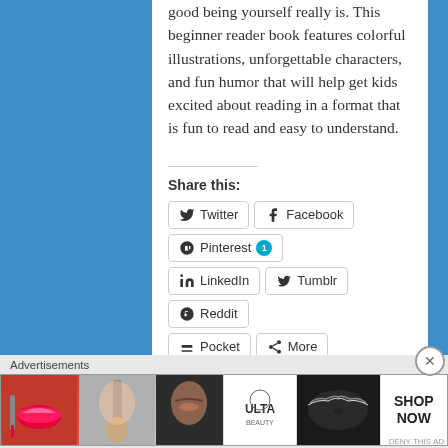good being yourself really is. This beginner reader book features colorful illustrations, unforgettable characters, and fun humor that will help get kids excited about reading in a format that is fun to read and easy to understand.
Share this:
Twitter
Facebook
Pinterest 1
LinkedIn
Tumblr
Reddit
Pocket
More
Like this:
Like
Advertisements